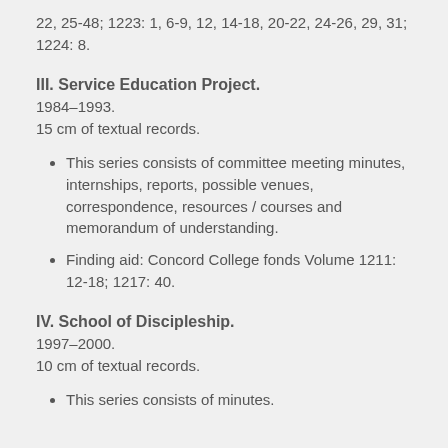22, 25-48; 1223: 1, 6-9, 12, 14-18, 20-22, 24-26, 29, 31; 1224: 8.
III. Service Education Project.
1984–1993.
15 cm of textual records.
This series consists of committee meeting minutes, internships, reports, possible venues, correspondence, resources / courses and memorandum of understanding.
Finding aid: Concord College fonds Volume 1211: 12-18; 1217: 40.
IV. School of Discipleship.
1997–2000.
10 cm of textual records.
This series consists of minutes.